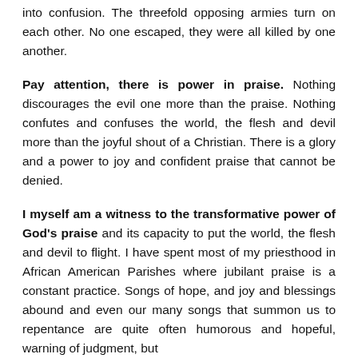into confusion. The threefold opposing armies turn on each other. No one escaped, they were all killed by one another.
Pay attention, there is power in praise. Nothing discourages the evil one more than the praise. Nothing confutes and confuses the world, the flesh and devil more than the joyful shout of a Christian. There is a glory and a power to joy and confident praise that cannot be denied.
I myself am a witness to the transformative power of God's praise and its capacity to put the world, the flesh and devil to flight. I have spent most of my priesthood in African American Parishes where jubilant praise is a constant practice. Songs of hope, and joy and blessings abound and even our many songs that summon us to repentance are quite often humorous and hopeful, warning of judgment, but